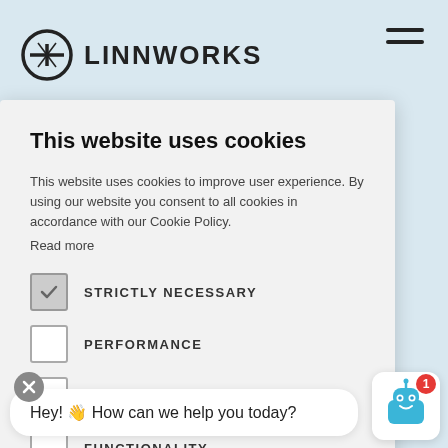[Figure (screenshot): Linnworks website header with logo and hamburger menu on light blue background]
This website uses cookies
This website uses cookies to improve user experience. By using our website you consent to all cookies in accordance with our Cookie Policy.
Read more
STRICTLY NECESSARY (checked)
PERFORMANCE
TARGETING
FUNCTIONALITY
ACCEPT ALL
SHOW DETAILS
Hey! 👋 How can we help you today?